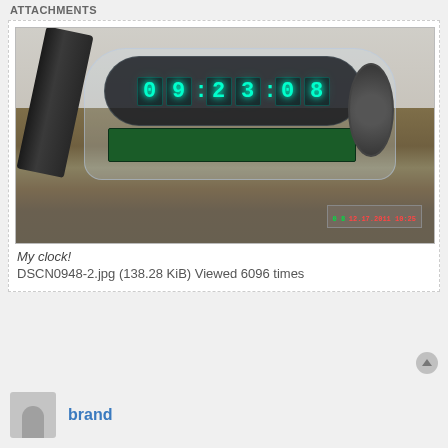ATTACHMENTS
[Figure (photo): A VFD (vacuum fluorescent display) clock in a clear acrylic enclosure, showing the time 09:23:08 in green digits, sitting on a wooden surface. A pen or marker is leaning against it on the left side. A camera timestamp overlay reads 12.17.2011 10:25.]
My clock!
DSCN0948-2.jpg (138.28 KiB) Viewed 6096 times
brand